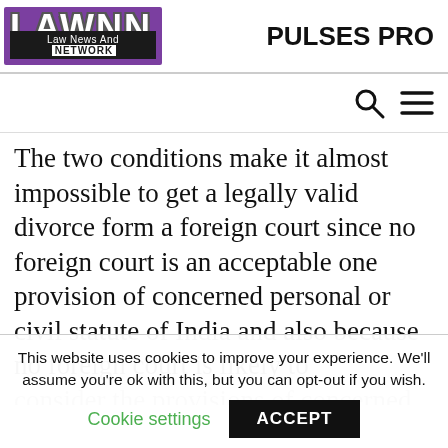[Figure (logo): LAWNN Law News And Network logo on purple background]
PULSES PRO
[Figure (other): Search icon and hamburger menu icon]
The two conditions make it almost impossible to get a legally valid divorce form a foreign court since no foreign court is an acceptable one provision of concerned personal or civil statute of India and also because no foreign court is likely to
This website uses cookies to improve your experience. We'll assume you're ok with this, but you can opt-out if you wish.
Cookie settings   ACCEPT